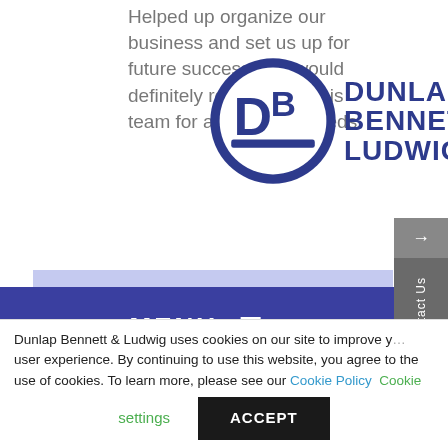Helped up organize our business and set us up for future success! We would definitely recommend this team for any/all your needs.
[Figure (logo): Dunlap Bennett & Ludwig law firm logo with circular DB monogram and company name in blue text]
[Figure (screenshot): Navigation menu bar with blue background showing MENU with hamburger icon]
[Figure (screenshot): Blog post image showing silhouettes of two people shaking hands with text NEW BLOG and subtitle DOING A DEAL WITH THE DEVIL: WHY ENTERING]
Dunlap Bennett & Ludwig uses cookies on our site to improve your user experience. By continuing to use this website, you agree to the use of cookies. To learn more, please see our Cookie Policy Cookie settings ACCEPT